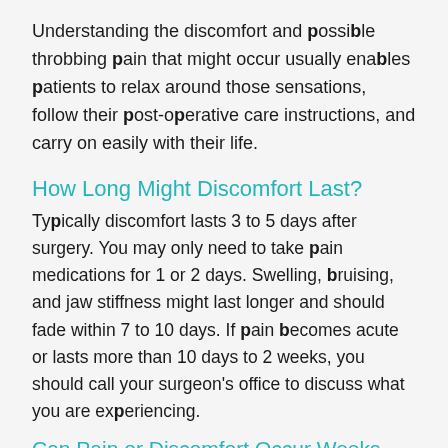Understanding the discomfort and possible throbbing pain that might occur usually enables patients to relax around those sensations, follow their post-operative care instructions, and carry on easily with their life.
How Long Might Discomfort Last?
Typically discomfort lasts 3 to 5 days after surgery. You may only need to take pain medications for 1 or 2 days. Swelling, bruising, and jaw stiffness might last longer and should fade within 7 to 10 days. If pain becomes acute or lasts more than 10 days to 2 weeks, you should call your surgeon's office to discuss what you are experiencing.
Can Pain or Discomfort Occur Weeks, Months, or Years Later?